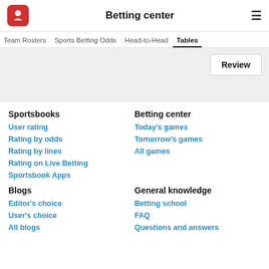Betting center
Team Rosters · Sports Betting Odds · Head-to-Head · Tables
Review
Sportsbooks
User rating
Rating by odds
Rating by lines
Rating on Live Betting
Sportsbook Apps
Betting center
Today's games
Tomorrow's games
All games
Blogs
Editor's choice
User's choice
All blogs
General knowledge
Betting school
FAQ
Questions and answers